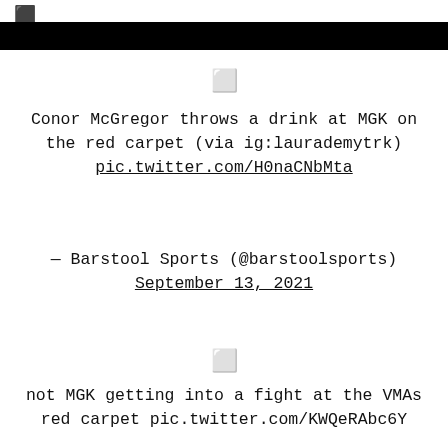[Figure (other): Small bracket icon in top-left corner]
[Figure (other): Black horizontal bar / header bar]
[Figure (other): Small square bracket / emoji icon centered]
Conor McGregor throws a drink at MGK on the red carpet (via ig:laurademytrk) pic.twitter.com/H0naCNbMta
— Barstool Sports (@barstoolsports) September 13, 2021
[Figure (other): Small square bracket / emoji icon centered]
not MGK getting into a fight at the VMAs red carpet pic.twitter.com/KWQeRAbc6Y